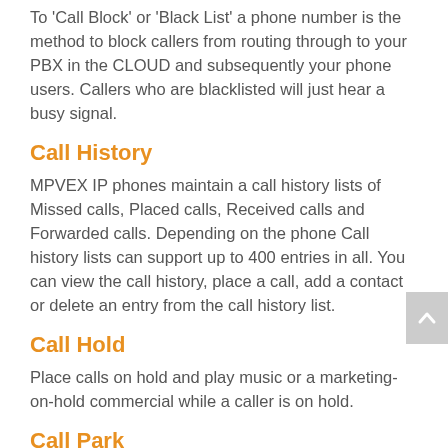To 'Call Block' or 'Black List' a phone number is the method to block callers from routing through to your PBX in the CLOUD and subsequently your phone users. Callers who are blacklisted will just hear a busy signal.
Call History
MPVEX IP phones maintain a call history lists of Missed calls, Placed calls, Received calls and Forwarded calls. Depending on the phone Call history lists can support up to 400 entries in all. You can view the call history, place a call, add a contact or delete an entry from the call history list.
Call Hold
Place calls on hold and play music or a marketing-on-hold commercial while a caller is on hold.
Call Park
Unlike a call placed on hold, a parked call may be